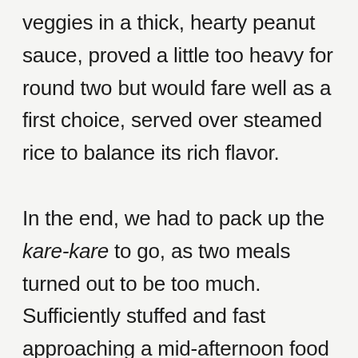veggies in a thick, hearty peanut sauce, proved a little too heavy for round two but would fare well as a first choice, served over steamed rice to balance its rich flavor.

In the end, we had to pack up the kare-kare to go, as two meals turned out to be too much. Sufficiently stuffed and fast approaching a mid-afternoon food coma, we flip through the menu to find desserts and other snacks, but our